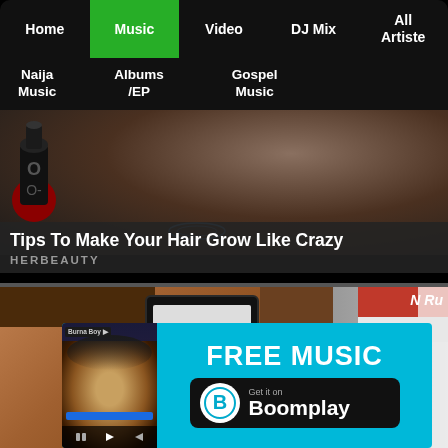Home | Music | Video | DJ Mix | All Artiste
Naija Music
Albums /EP
Gospel Music
[Figure (photo): Person with head down showing hair from above, with a dark liquid bottle on the left side]
Tips To Make Your Hair Grow Like Crazy
HERBEAUTY
[Figure (photo): A hand holding a small black phone/device showing '085645802' on screen, with books/magazines in background]
[Figure (screenshot): Boomplay music app advertisement showing FREE MUSIC and Get it on Boomplay with Burna Boy album art thumbnail]